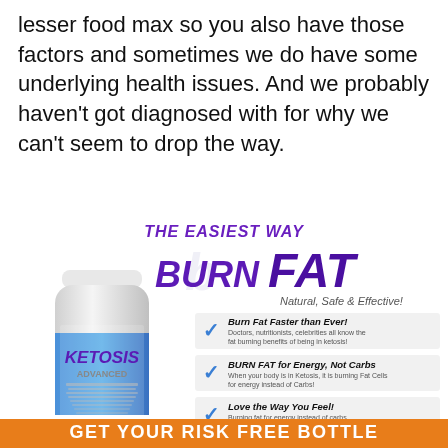lesser food max so you also have those factors and sometimes we do have some underlying health issues. And we probably haven't got diagnosed with for why we can't seem to drop the way.
[Figure (infographic): Ketosis Advanced supplement advertisement showing: headline 'THE EASIEST WAY BURN FAT', subtitle 'Natural, Safe & Effective!', a white supplement bottle labeled 'KETOSIS ADVANCED', three checkmark bullet points ('Burn Fat Faster than Ever!', 'BURN FAT for Energy, Not Carbs', 'Love the Way You Feel!'), 'Limited Time Only!' text, and an orange banner at the bottom reading 'GET YOUR RISK FREE BOTTLE']